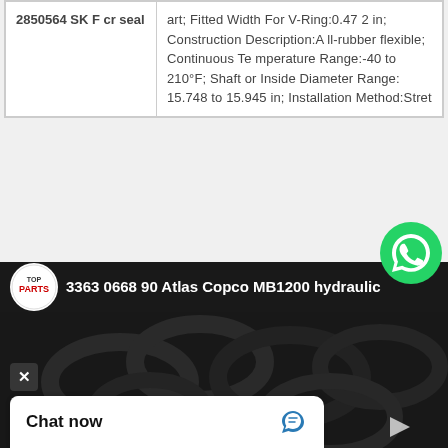| Product ID | Description |
| --- | --- |
| 2850564 SK F cr seal | art; Fitted Width For V-Ring:0.472 in; Construction Description:All-rubber flexible; Continuous Temperature Range:-40 to 210°F; Shaft or Inside Diameter Range:15.748 to 15.945 in; Installation Method:Stret |
[Figure (screenshot): Video thumbnail showing rubber o-rings/seals with title '3363 0668 90 Atlas Copco MB1200 hydraulic' and ToParts logo. Includes WhatsApp button, close button, more options button, and Chat now bar overlay.]